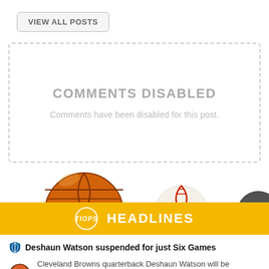VIEW ALL POSTS
COMMENTS DISABLED
Comments have been disabled for this post.
[Figure (illustration): Sports balls (basketball, baseball, football) above a gold banner with TIOPS HEADLINES logo]
Deshaun Watson suspended for just Six Games
Cleveland Browns quarterback Deshaun Watson will be